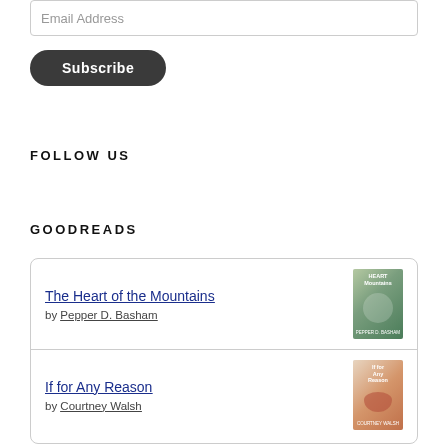Email Address
Subscribe
FOLLOW US
GOODREADS
The Heart of the Mountains
by Pepper D. Basham
If for Any Reason
by Courtney Walsh